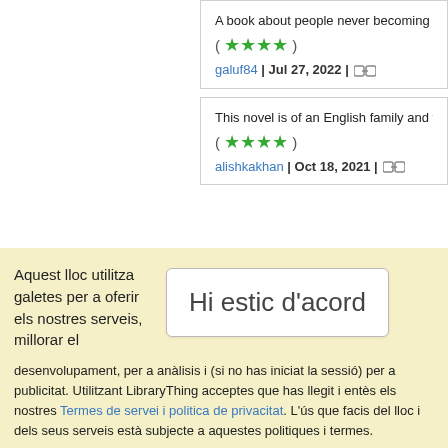A book about people never becoming th...
( ★★★★ )
galuf84 | Jul 27, 2022 | 🔗
This novel is of an English family and the...
( ★★★★ )
alishkakhan | Oct 18, 2021 | 🔗
Aquest lloc utilitza galetes per a oferir els nostres serveis, millorar el
[Figure (screenshot): Cookie consent button with text 'Hi estic d'acord']
desenvolupament, per a anàlisis i (si no has iniciat la sessió) per a publicitat. Utilitzant LibraryThing acceptes que has llegit i entès els nostres Termes de servei i politica de privacitat. L'ús que facis del lloc i dels seus serveis està subjecte a aquestes politiques i termes.